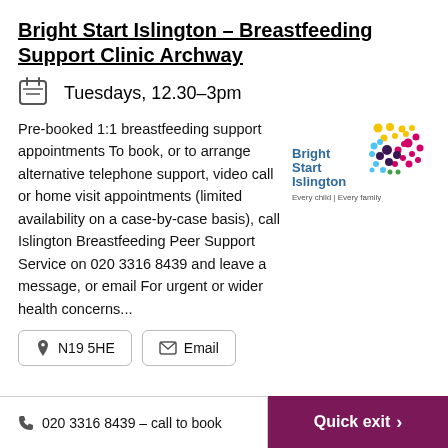Bright Start Islington – Breastfeeding Support Clinic Archway
Tuesdays, 12.30–3pm
Pre-booked 1:1 breastfeeding support appointments To book, or to arrange alternative telephone support, video call or home visit appointments (limited availability on a case-by-case basis), call Islington Breastfeeding Peer Support Service on 020 3316 8439 and leave a message, or email For urgent or wider health concerns...
[Figure (logo): Bright Start Islington logo – coloured dot pattern with text 'Bright Start Islington Every child | Every family']
N19 5HE
Email
020 3316 8439 - call to book
Quick exit >